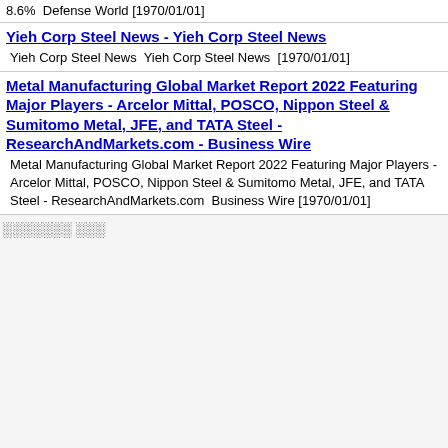8.6%  Defense World [1970/01/01]
Yieh Corp Steel News - Yieh Corp Steel News
Yieh Corp Steel News  Yieh Corp Steel News  [1970/01/01]
Metal Manufacturing Global Market Report 2022 Featuring Major Players - Arcelor Mittal, POSCO, Nippon Steel & Sumitomo Metal, JFE, and TATA Steel - ResearchAndMarkets.com - Business Wire
Metal Manufacturing Global Market Report 2022 Featuring Major Players - Arcelor Mittal, POSCO, Nippon Steel & Sumitomo Metal, JFE, and TATA Steel - ResearchAndMarkets.com  Business Wire [1970/01/01]
░░░░░░░ ░░░